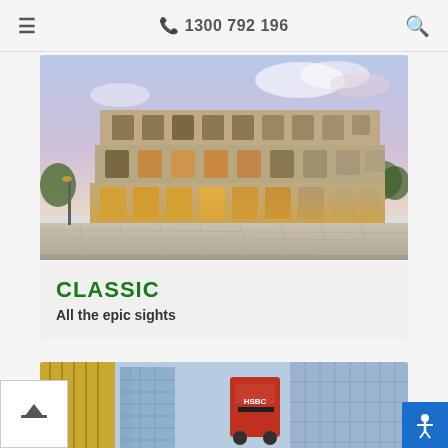☎ 1300 792 196
[Figure (photo): Photograph of the Colosseum in Rome, illuminated with warm light at dusk, with a cobblestone plaza in the foreground and a blue-purple sky with clouds in the background.]
CLASSIC
All the epic sights
[Figure (photo): Partial view of a city scene with modern glass buildings and what appears to be a double-decker bus with HSBC branding.]